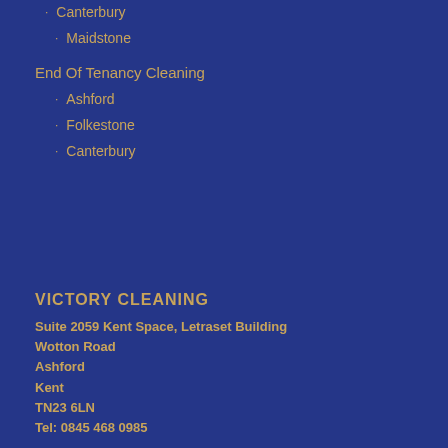Canterbury
Maidstone
End Of Tenancy Cleaning
Ashford
Folkestone
Canterbury
VICTORY CLEANING
Suite 2059 Kent Space, Letraset Building
Wotton Road
Ashford
Kent
TN23 6LN
Tel: 0845 468 0985